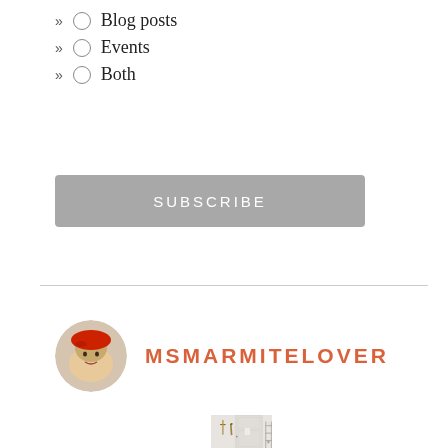Blog posts
Events
Both
SUBSCRIBE
MSMARMITELOVER
[Figure (photo): Interior room photo showing a white door with a crucifix on the left wall, a wooden decorative piece, a small paper notice on the door, and a metal wire shelving unit on the right side.]